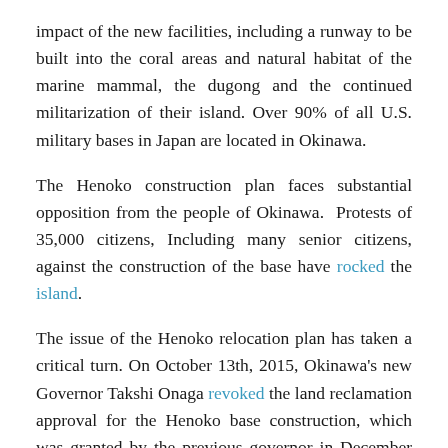impact of the new facilities, including a runway to be built into the coral areas and natural habitat of the marine mammal, the dugong and the continued militarization of their island. Over 90% of all U.S. military bases in Japan are located in Okinawa.
The Henoko construction plan faces substantial opposition from the people of Okinawa. Protests of 35,000 citizens, Including many senior citizens, against the construction of the base have rocked the island.
The issue of the Henoko relocation plan has taken a critical turn. On October 13th, 2015, Okinawa's new Governor Takshi Onaga revoked the land reclamation approval for the Henoko base construction, which was granted by the previous governor in December 2013.
The All Okinawa Council is a civil society organization,